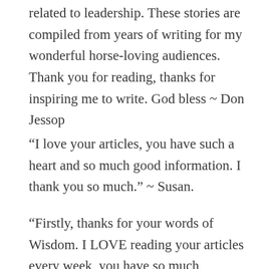related to leadership. These stories are compiled from years of writing for my wonderful horse-loving audiences. Thank you for reading, thanks for inspiring me to write. God bless ~ Don Jessop
“I love your articles, you have such a heart and so much good information. I thank you so much.” ~ Susan.
“Firstly, thanks for your words of Wisdom. I LOVE reading your articles every week, you have so much knowledge